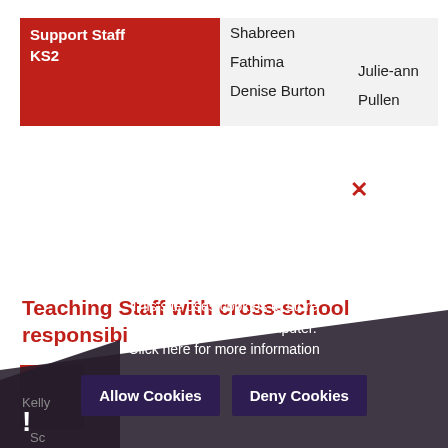| Role | Name 1 | Name 2 |
| --- | --- | --- |
| Support Staff KS2 | Shabreen
Fathima
Denise Burton | Julie-ann
Pullen |
Teaching Staff with cross-school responsibilities
[Figure (screenshot): Cookie Policy popup overlay with dark semi-transparent background. Title: 'Cookie Policy'. Text: 'This site uses cookies to store information on your computer. Click here for more information'. Two buttons: 'Allow Cookies' and 'Deny Cookies'. A red X close icon visible top right of popup.]